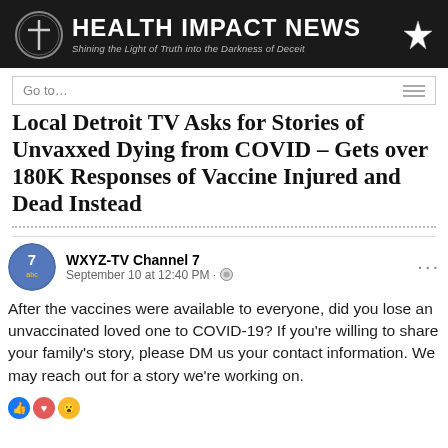HEALTH IMPACT NEWS — Shining the Light of Truth into the Darkness of Deceit
Local Detroit TV Asks for Stories of Unvaxxed Dying from COVID – Gets over 180K Responses of Vaccine Injured and Dead Instead
[Figure (screenshot): Facebook post from WXYZ-TV Channel 7, September 10 at 12:40 PM, with text: After the vaccines were available to everyone, did you lose an unvaccinated loved one to COVID-19? If you're willing to share your family's story, please DM us your contact information. We may reach out for a story we're working on.]